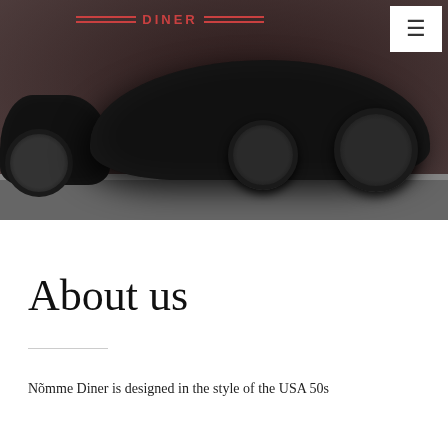[Figure (photo): Hero image of a classic vintage black automobile (lowrider/hot rod style) parked on a street, shown in black and white with a reddish-brown color overlay. Part of the car body and wheels are prominently visible. A logo reading 'DINER' with decorative lines is overlaid at the top left, and a navigation menu button is in the top right corner.]
About us
Nõmme Diner is designed in the style of the USA 50s